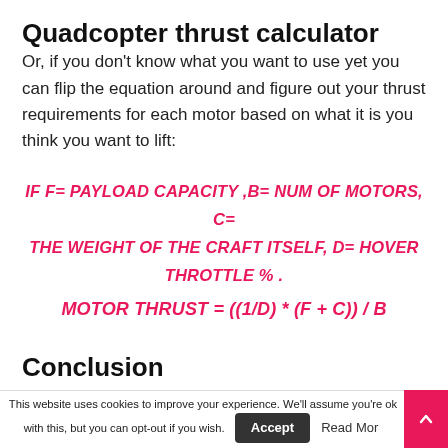Quadcopter thrust calculator
Or, if you don't know what you want to use yet you can flip the equation around and figure out your thrust requirements for each motor based on what it is you think you want to lift:
Conclusion
This website uses cookies to improve your experience. We'll assume you're ok with this, but you can opt-out if you wish.